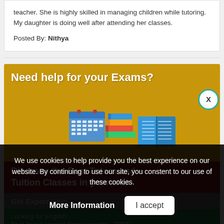teacher. She is highly skilled in managing children while tutoring. My daughter is doing well after attending her classes.
Posted By: Nithya
[Figure (infographic): Ad banner: 'Need help for your Exams?' with illustration of books and calendar on golden background, 'Discover the Best Tutors and Tuition Classes in your area' on dark red background]
We use cookies to help provide you the best experience on our website. By continuing to use our site, you constent to our use of these cookies.
More Information
I accept